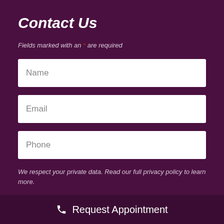Contact Us
Fields marked with an * are required
Name
Email
Phone
We respect your private data. Read our full privacy policy to learn more.
Request Appointment